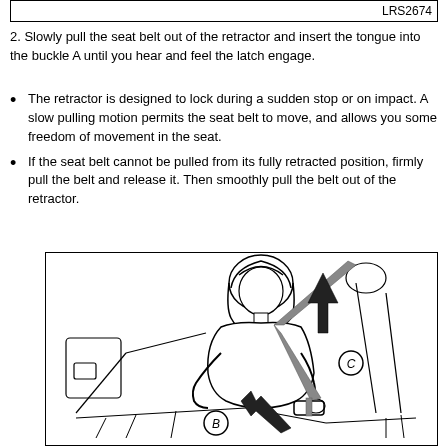LRS2674
2. Slowly pull the seat belt out of the retractor and insert the tongue into the buckle A until you hear and feel the latch engage.
The retractor is designed to lock during a sudden stop or on impact. A slow pulling motion permits the seat belt to move, and allows you some freedom of movement in the seat.
If the seat belt cannot be pulled from its fully retracted position, firmly pull the belt and release it. Then smoothly pull the belt out of the retractor.
[Figure (illustration): Line drawing of a person seated in a car seat, fastening a seat belt. The person is pulling the seat belt upward (arrow pointing up, labeled C near the retractor side) and the lower end inserts into a buckle at the seat (arrow pointing down-right, labeled B near the buckle).]